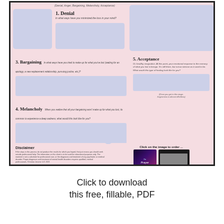(Denial, Anger, Bargaining, Melancholy, Acceptance)
1. Denial
In what ways have you minimized the loss in your mind?
3. Bargaining
In what ways have you tried to make up for what you've lost (waiting for an apology, a new replacement relationship, pursuing justice, etc.)?
5. Acceptance
Or, healthy resignation. At this point, your emotional response to the memory of what you lost is benign. It's still there, but not as intense as it used to be. What would this type of healing look like for you?
(Once you get to this stage, forgiveness is almost effortless)
4. Melancholy
When you realize that all your bargaining won't make up for what you lost, its common to experience a deep sadness; what would this look like for you?
Disclaimer
If the steps in this process do not produce the results for which you hoped, that just means you should seek outside professional help. The information on this sheet is to be used for educational purposes only. The material is not a substitute for professional care, or the diagnoses and treatment of any psychiatric or medical disorder. Proper diagnoses and treatment of mental health disorders requires qualified, medical professionals. Christian Jerome LLC 2021
For more information, click here ...
dougschmidt.com
You are free to send this PDF to someone who might benefit from it. Permission granted.
Click on the image to order ...
Kindle: $2.99
Loss-Liberation Template Bundle
45% discount
Etsy: $3.99
Click to download this free, fillable, PDF